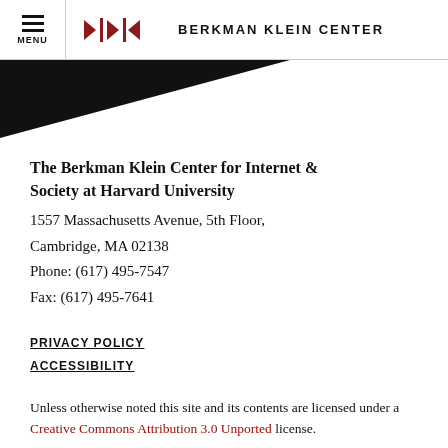MENU | BERKMAN KLEIN CENTER
[Figure (illustration): Dark black triangle/diagonal banner shape below the header]
The Berkman Klein Center for Internet & Society at Harvard University
1557 Massachusetts Avenue, 5th Floor,
Cambridge, MA 02138
Phone: (617) 495-7547
Fax: (617) 495-7641
PRIVACY POLICY
ACCESSIBILITY
Unless otherwise noted this site and its contents are licensed under a Creative Commons Attribution 3.0 Unported license.